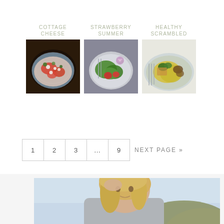COTTAGE CHEESE
[Figure (photo): Bowl of cottage cheese salad with tomatoes and herbs]
STRAWBERRY SUMMER
[Figure (photo): Bowl of strawberry summer salad with greens and a flower]
HEALTHY SCRAMBLED
[Figure (photo): Plate of healthy scrambled eggs with vegetables]
1  2  3  ...  9  NEXT PAGE »
[Figure (photo): Portrait photo of a young blonde woman outdoors with hills in background]